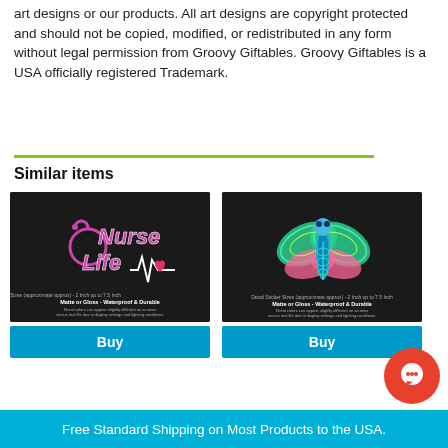art designs or our products. All art designs are copyright protected and should not be copied, modified, or redistributed in any form without legal permission from Groovy Giftables. Groovy Giftables is a USA officially registered Trademark.
Similar items
[Figure (photo): Product image of a Nurse Life sticker decal on dark background with colorful pink and purple lettering and a heartbeat line]
[Figure (photo): Product image of a colorful dragonfly sticker decal on dark background with vibrant green, teal, and pink mandala-style artwork]
Free Standard Shipping on Most Products to the USA.